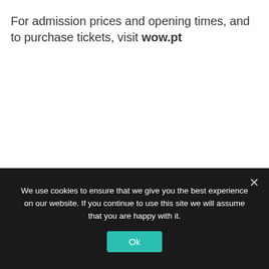For admission prices and opening times, and to purchase tickets, visit wow.pt
RELATED ARTICLES
We use cookies to ensure that we give you the best experience on our website. If you continue to use this site we will assume that you are happy with it.